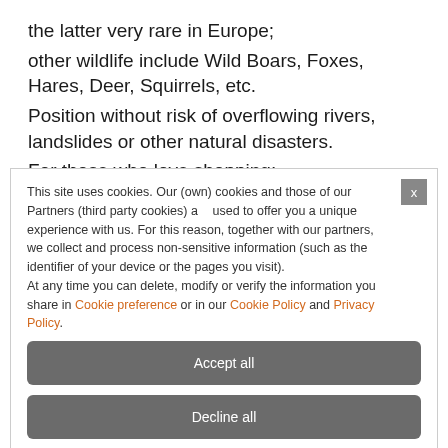the latter very rare in Europe;
other wildlife include Wild Boars, Foxes, Hares, Deer, Squirrels, etc.
Position without risk of overflowing rivers, landslides or other natural disasters.
For those who love shopping:
Vicolungo Outlets, near Novara, it is one of the biggest Italian factory-
This site uses cookies. Our (own) cookies and those of our Partners (third party cookies) are used to offer you a unique experience with us. For this reason, together with our partners, we collect and process non-sensitive information (such as the identifier of your device or the pages you visit).
At any time you can delete, modify or verify the information you share in Cookie preference or in our Cookie Policy and Privacy Policy.
Accept all
Decline all
Customize